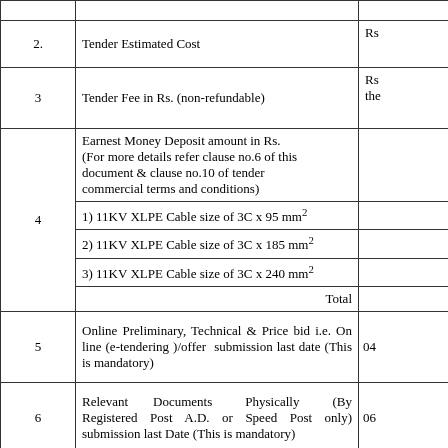| No. | Description | Value/Date |
| --- | --- | --- |
| 2. | Tender Estimated Cost | Rs |
| 3 | Tender Fee in Rs. (non-refundable) | Rs... the... |
| 4 | Earnest Money Deposit amount in Rs. (For more details refer clause no.6 of this document & clause no.10 of tender commercial terms and conditions)
1) 11KV XLPE Cable size of 3C x 95 mm²
2) 11KV XLPE Cable size of 3C x 185 mm²
3) 11KV XLPE Cable size of 3C x 240 mm²
Total |  |
| 5 | Online Preliminary, Technical & Price bid i.e. On line (e-tendering )/offer  submission last date (This is mandatory) | 04 |
| 6 | Relevant Documents Physically (By Registered Post A.D. or Speed Post only) submission last Date (This is mandatory) | 06 |
| 7 | Date of opening of Tender fee & EMD cover documents physical as well as on line | 07 |
| 8 | Date of opening of Technical Bid physical as well as on ◆ line | 10 |
| 9 | Date of On line Opening of Price Bid | 1 |